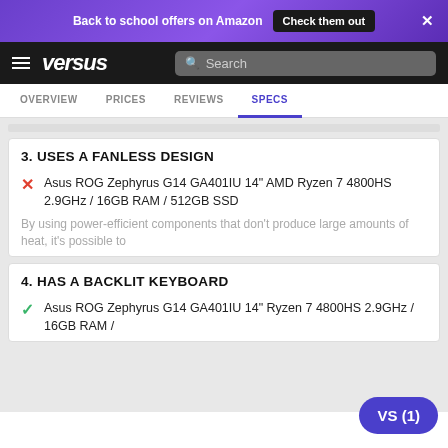Back to school offers on Amazon  Check them out  ×
versus  Search
OVERVIEW  PRICES  REVIEWS  SPECS
3. USES A FANLESS DESIGN
Asus ROG Zephyrus G14 GA401IU 14" AMD Ryzen 7 4800HS 2.9GHz / 16GB RAM / 512GB SSD
By using power-efficient components that don't produce large amounts of heat, it's possible to
4. HAS A BACKLIT KEYBOARD
Asus ROG Zephyrus G14 GA401IU 14" Ryzen 7 4800HS 2.9GHz / 16GB RAM /